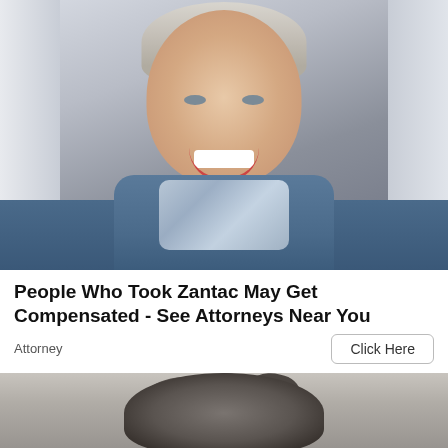[Figure (photo): Photo of a smiling elderly woman with short silver-blonde hair, wearing a blue sweater and a light blue patterned scarf around her neck, against a light grey background.]
People Who Took Zantac May Get Compensated - See Attorneys Near You
Attorney
Click Here
[Figure (photo): Photo of a fluffy grey dog with messy fur on top of its head, viewed from above/front, against a light background.]